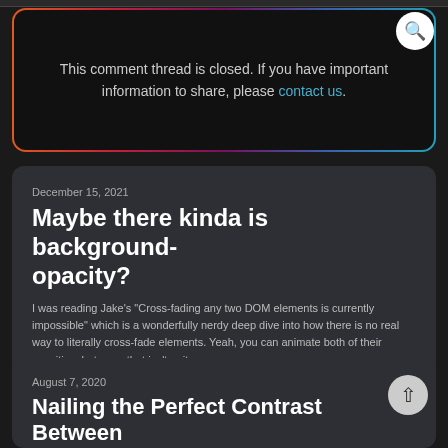This comment thread is closed. If you have important information to share, please contact us.
December 15, 2021
Maybe there kinda is background-opacity?
I was reading Jake's "Cross-fading any two DOM elements is currently impossible" which is a wonderfully nerdy deep dive into how there is no real way to literally cross-fade elements. Yeah, you can animate both of their opacities, but even that isn't quit...
August 7, 2020
Nailing the Perfect Contrast Between Light Text and a Background Image